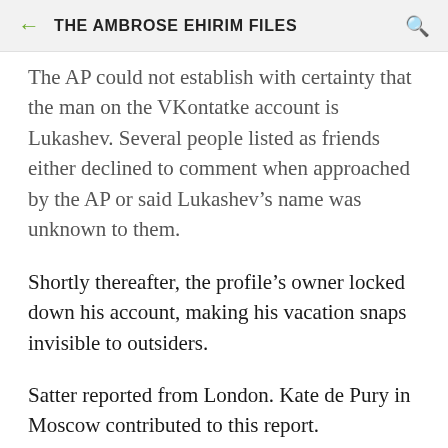THE AMBROSE EHIRIM FILES
The AP could not establish with certainty that the man on the VKontatke account is Lukashev. Several people listed as friends either declined to comment when approached by the AP or said Lukashev’s name was unknown to them.
Shortly thereafter, the profile’s owner locked down his account, making his vacation snaps invisible to outsiders.
Satter reported from London. Kate de Pury in Moscow contributed to this report.